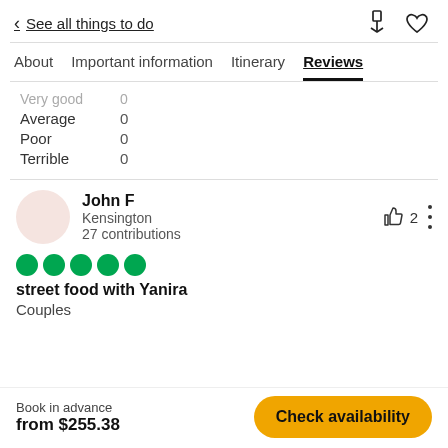< See all things to do
About  Important information  Itinerary  Reviews
Very good  0
Average  0
Poor  0
Terrible  0
John F
Kensington
27 contributions
street food with Yanira
Couples
Book in advance
from $255.38
Check availability